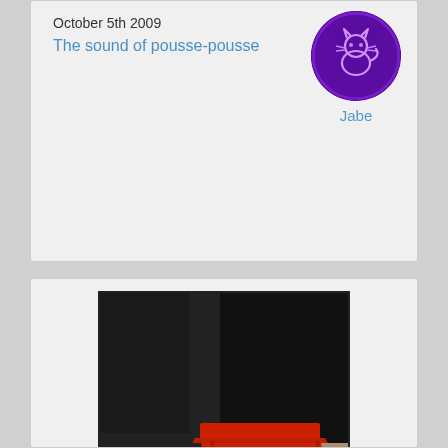October 5th 2009
The sound of pousse-pousse
[Figure (photo): Avatar icon showing a neon cat/animal outline glowing purple on dark circular background, labeled 'Jabe']
[Figure (photo): Photo of a man riding/pulling a red pousse-pousse (rickshaw) with a red canopy top, viewed from above at an angle. The vehicle has large spoked wheels and a red metal frame. The puller wears a gray jacket and red cap.]